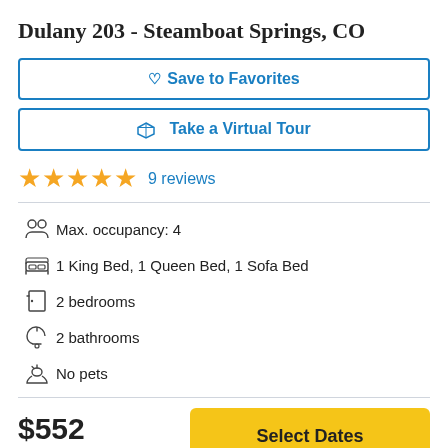Dulany 203 - Steamboat Springs, CO
Save to Favorites
Take a Virtual Tour
★★★★★ 9 reviews
Max. occupancy: 4
1 King Bed, 1 Queen Bed, 1 Sofa Bed
2 bedrooms
2 bathrooms
No pets
$552 avg / night
Select Dates